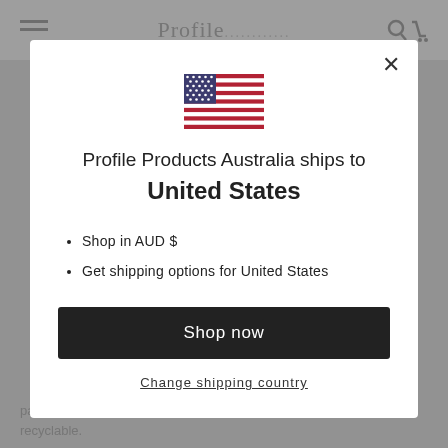Profile
[Figure (illustration): US flag emoji/icon displayed centered in modal]
Profile Products Australia ships to United States
Shop in AUD $
Get shipping options for United States
Shop now
Change shipping country
packaging materials used are 100% environmentally friendly and recyclable.